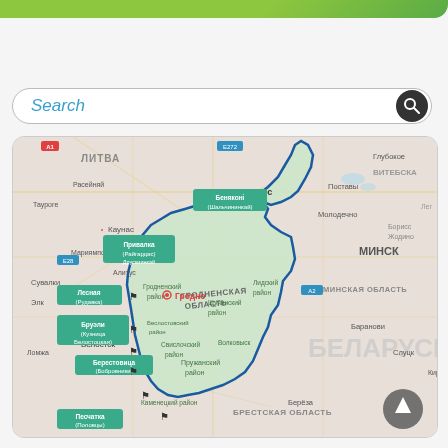[Figure (other): Decorative top green gradient bar]
Search
[Figure (map): Map of Grodno Oblast in Belarus showing border crossings and districts labeled in Russian. Key locations include Гродно (Grodno), Лесная (Рудавка), Бруэли (Кузница Белостоцкая), Привалка (Райгардас) Друскининкай, Беняконі (Шальчининкай), Берестовица (Бобровники), Песчатка (Половцы), Пружанский район, Каменецкий район, Свислочский район, Волковыск, Лидский район, Щучинский район, Гродненский район. Surrounding countries/regions shown: Литва (Lithuania), Беларусь (Belarus), Минская область, Брестская область. Cities visible: Минск, Вильнюс, Каунас, Молодечно, Баранови, Слуцк.]